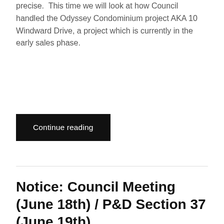precise.  This time we will look at how Council handled the Odyssey Condominium project AKA 10 Windward Drive, a project which is currently in the early sales phase.
Continue reading
Notice: Council Meeting (June 18th) / P&D Section 37 (June 19th)
JUNE 17, 2018 / 0 COMMENTS
[Figure (infographic): Dark background banner with yellow bold text reading COUNCIL AGENDA JUNE 18, 2018 and a diagonal decorative line]